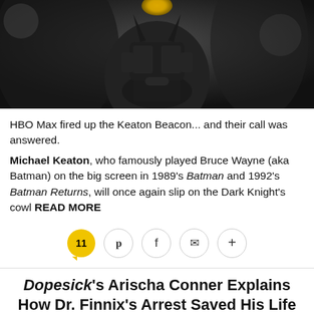[Figure (photo): Close-up photo of Batman costume/mask in dark tones, black armor with yellow eye detail visible at top]
HBO Max fired up the Keaton Beacon... and their call was answered.
Michael Keaton, who famously played Bruce Wayne (aka Batman) on the big screen in 1989's Batman and 1992's Batman Returns, will once again slip on the Dark Knight's cowl READ MORE
[Figure (infographic): Social sharing bar with comment count bubble showing 11, Twitter bird icon, Facebook f icon, email envelope icon, and plus icon]
Dopesick's Arischa Conner Explains How Dr. Finnix's Arrest Saved His Life
By Mekeisha Madden Toby / November 9 2021, 4:03 PM PST